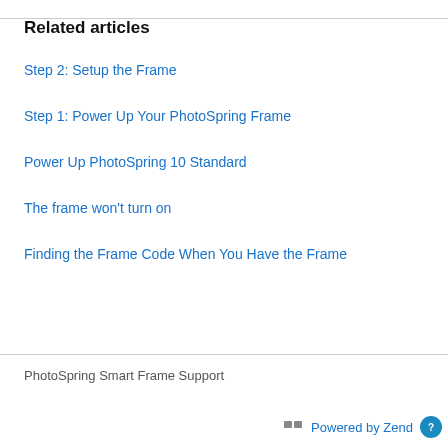Related articles
Step 2: Setup the Frame
Step 1: Power Up Your PhotoSpring Frame
Power Up PhotoSpring 10 Standard
The frame won't turn on
Finding the Frame Code When You Have the Frame
PhotoSpring Smart Frame Support
Powered by Zend